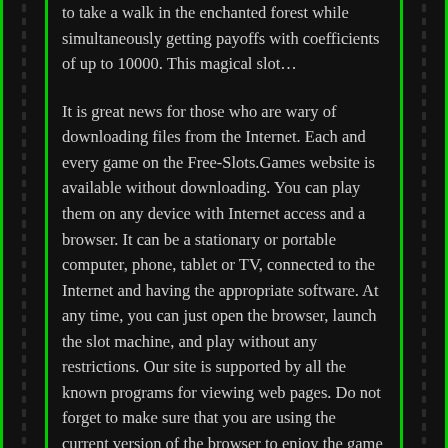to take a walk in the enchanted forest while simultaneously getting payoffs with coefficients of up to 10000. This magical slot…
It is great news for those who are wary of downloading files from the Internet. Each and every game on the Free-Slots.Games website is available without downloading. You can play them on any device with Internet access and a browser. It can be a stationary or portable computer, phone, tablet or TV, connected to the Internet and having the appropriate software. At any time, you can just open the browser, launch the slot machine, and play without any restrictions. Our site is supported by all the known programs for viewing web pages. Do not forget to make sure that you are using the current version of the browser to enjoy the game without any problems. Play whenever and wherever you want, because Free-Slots.Games works 24 hours a day and you can get Internet access almost everywhere in the